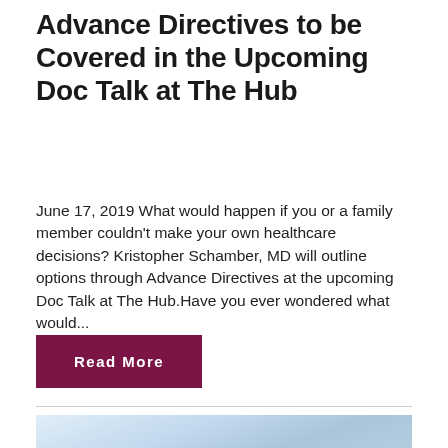Advance Directives to be Covered in the Upcoming Doc Talk at The Hub
June 17, 2019 What would happen if you or a family member couldn't make your own healthcare decisions? Kristopher Schamber, MD will outline options through Advance Directives at the upcoming Doc Talk at The Hub.Have you ever wondered what would...
Read More
[Figure (photo): Partial view of a sky with clouds, light blue tones, bottom portion of page]